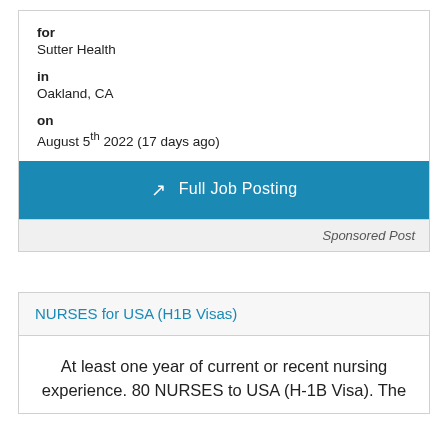for
Sutter Health
in
Oakland, CA
on
August 5th 2022 (17 days ago)
Full Job Posting
Sponsored Post
NURSES for USA (H1B Visas)
At least one year of current or recent nursing experience. 80 NURSES to USA (H-1B Visa). The